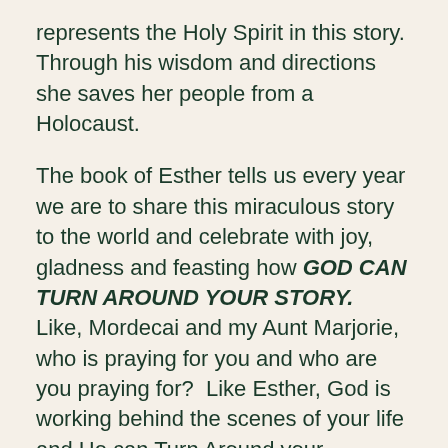represents the Holy Spirit in this story.  Through his wisdom and directions she saves her people from a Holocaust.
The book of Esther tells us every year we are to share this miraculous story to the world and celebrate with joy, gladness and feasting how GOD CAN TURN AROUND YOUR STORY.  Like, Mordecai and my Aunt Marjorie, who is praying for you and who are you praying for?  Like Esther, God is working behind the scenes of your life and He can Turn Around your circumstances.  God is working in secret behind your life.  Someone is praying for you today.  If God is the same yesterday, today, and forever he can do it for you.